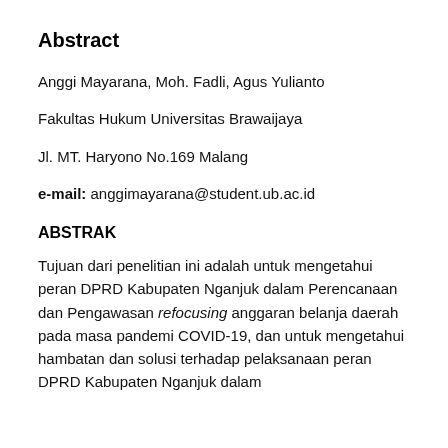Abstract
Anggi Mayarana, Moh. Fadli, Agus Yulianto
Fakultas Hukum Universitas Brawaijaya
Jl. MT. Haryono No.169 Malang
e-mail: anggimayarana@student.ub.ac.id
ABSTRAK
Tujuan dari penelitian ini adalah untuk mengetahui peran DPRD Kabupaten Nganjuk dalam Perencanaan dan Pengawasan refocusing anggaran belanja daerah pada masa pandemi COVID-19, dan untuk mengetahui hambatan dan solusi terhadap pelaksanaan peran DPRD Kabupaten Nganjuk dalam...